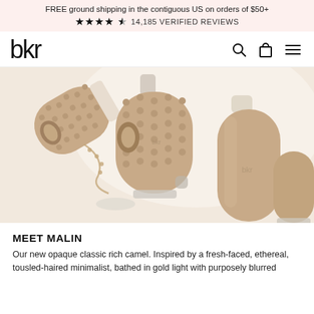FREE ground shipping in the contiguous US on orders of $50+
★★★★½ 14,185 VERIFIED REVIEWS
[Figure (logo): bkr brand logo in lowercase thin sans-serif font]
[Figure (photo): Multiple bkr glass water bottles with beige/camel colored silicone sleeves, some with spiked texture and some smooth, arranged scattered on a white background in bright light]
MEET MALIN
Our new opaque classic rich camel. Inspired by a fresh-faced, ethereal, tousled-haired minimalist, bathed in gold light with purposely blurred...